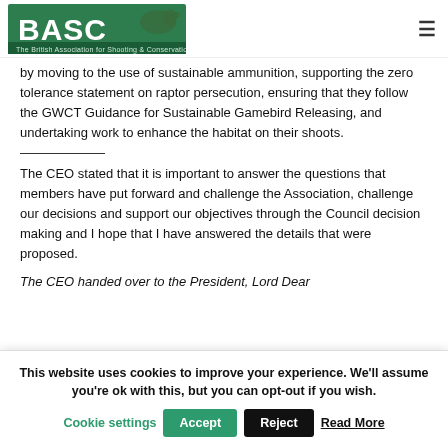[Figure (logo): BASC logo — The British Association for Shooting & Conservation, green rectangle with dog silhouette and white text]
by moving to the use of sustainable ammunition, supporting the zero tolerance statement on raptor persecution, ensuring that they follow the GWCT Guidance for Sustainable Gamebird Releasing, and undertaking work to enhance the habitat on their shoots.
The CEO stated that it is important to answer the questions that members have put forward and challenge the Association, challenge our decisions and support our objectives through the Council decision making and I hope that I have answered the details that were proposed.
The CEO handed over to the President, Lord Dear
This website uses cookies to improve your experience. We'll assume you're ok with this, but you can opt-out if you wish.